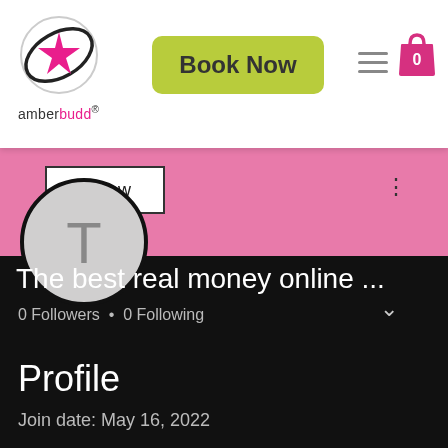[Figure (logo): amberbudd logo with star icon circle and brand name]
Book Now
[Figure (screenshot): Social profile page with pink banner, avatar T, Follow button, username 'The best real money online ...', 0 Followers • 0 Following, Profile section, Join date: May 16, 2022]